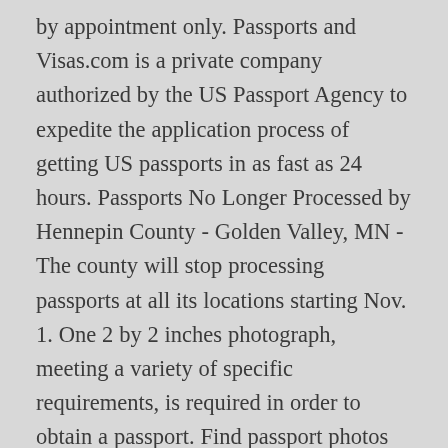by appointment only. Passports and Visas.com is a private company authorized by the US Passport Agency to expedite the application process of getting US passports in as fast as 24 hours. Passports No Longer Processed by Hennepin County - Golden Valley, MN - The county will stop processing passports at all its locations starting Nov. 1. One 2 by 2 inches photograph, meeting a variety of specific requirements, is required in order to obtain a passport. Find passport photos photographers in Hennepin County, MN on Yellowbook. If you have questions or issues about your passport, or you need to schedule an appointment to apply for a passport, then call the Hennepin County Gov. If you feel that your safety or